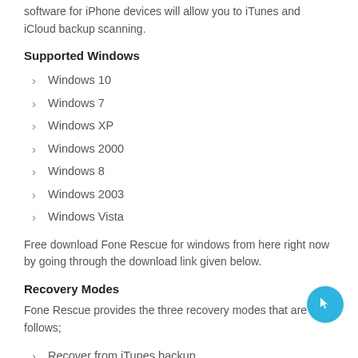software for iPhone devices will allow you to iTunes and iCloud backup scanning.
Supported Windows
Windows 10
Windows 7
Windows XP
Windows 2000
Windows 8
Windows 2003
Windows Vista
Free download Fone Rescue for windows from here right now by going through the download link given below.
Recovery Modes
Fone Rescue provides the three recovery modes that are as follows;
Recover from iTunes backup